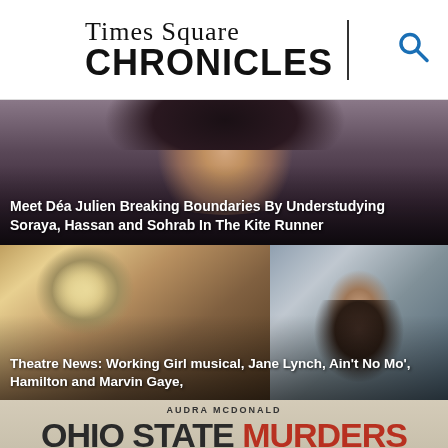Times Square CHRONICLES
[Figure (photo): Close-up portrait of a woman with dark hair against a dark background]
Meet Déa Julien Breaking Boundaries By Understudying Soraya, Hassan and Sohrab In The Kite Runner
[Figure (photo): Two photos side by side: left shows a person with curly blonde hair, right shows a smiling man with glasses in a blazer]
Theatre News: Working Girl musical, Jane Lynch, Ain't No Mo', Hamilton and Marvin Gaye,
[Figure (photo): Ohio State Murders promotional image with Audra McDonald text, large title text reading OHIO STATE MURDERS, and credits for Kenny Leon and Adrienne Kennedy]
Audra McDonald To Star in Adrienne Kennedy's Ohio State Murders